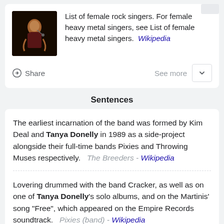[Figure (photo): Small thumbnail photo of a female rock singer performing on stage with a microphone, dark background with orange stage lighting]
List of female rock singers. For female heavy metal singers, see List of female heavy metal singers. Wikipedia
Share   See more
Sentences
The earliest incarnation of the band was formed by Kim Deal and Tanya Donelly in 1989 as a side-project alongside their full-time bands Pixies and Throwing Muses respectively.   The Breeders - Wikipedia
Lovering drummed with the band Cracker, as well as on one of Tanya Donelly's solo albums, and on the Martinis' song "Free", which appeared on the Empire Records soundtrack.   Pixies (band) - Wikipedia